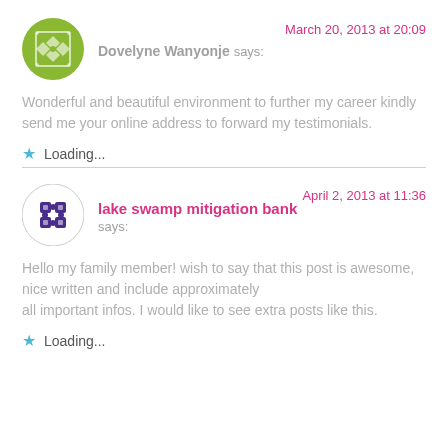Dovelyne Wanyonje says: March 20, 2013 at 20:09
Wonderful and beautiful environment to further my career kindly send me your online address to forward my testimonials.
Loading...
lake swamp mitigation bank says: April 2, 2013 at 11:36
Hello my family member! wish to say that this post is awesome, nice written and include approximately all important infos. I would like to see extra posts like this.
Loading...